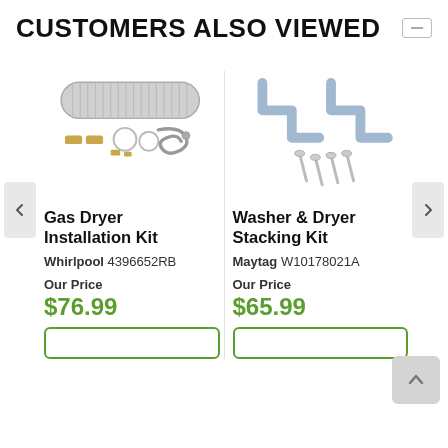CUSTOMERS ALSO VIEWED
[Figure (photo): Gas Dryer Installation Kit showing a flexible aluminum duct hose, clamps, brass fittings, and a steel braided gas line]
[Figure (photo): Washer & Dryer Stacking Kit showing two grey Z-shaped metal brackets and four screws]
Gas Dryer Installation Kit
Washer & Dryer Stacking Kit
Whirlpool 4396652RB
Maytag W10178021A
Our Price
$76.99
Our Price
$65.99